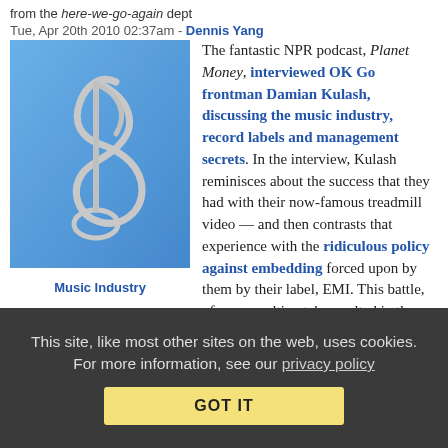from the here-we-go-again dept
Tue, Apr 20th 2010 02:37am - Dennis Yang
[Figure (illustration): Music note / treble clef icon on blue background]
Music Industry
The fantastic NPR podcast, Planet Money, interviewed OK Go frontman Damian Kulash, discussing the music industry, record labels and management secrets. In the interview, Kulash reminisces about the success that they had with their now-famous treadmill video — and then contrasts that experience with the ridiculous policy against embedding forced upon by them by their label, EMI. This battle, of course, ultimately resulted in the band parting ways with their label. Since distribution channels are no longer tightly controlled solely by the record labels, once an artist has established their fanbase, it is now much easier for them to go it alone. This story is becoming increasingly common. From Trent Reznor to Amanda Palmer, dropping a label has become the new reason to celebrate for the latest generation of musicians.
This site, like most other sites on the web, uses cookies. For more information, see our privacy policy
GOT IT